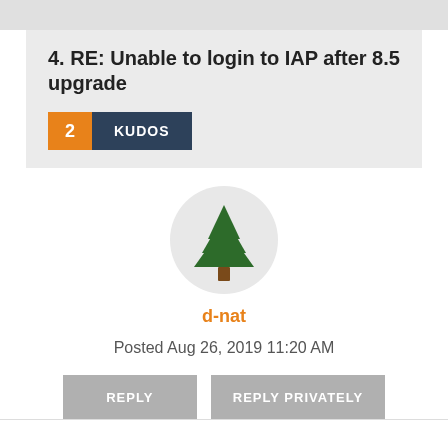4.  RE: Unable to login to IAP after 8.5 upgrade
2 KUDOS
[Figure (illustration): A pine/evergreen tree emoji avatar inside a light gray circle, representing a user avatar.]
d-nat
Posted Aug 26, 2019 11:20 AM
REPLY   REPLY PRIVATELY